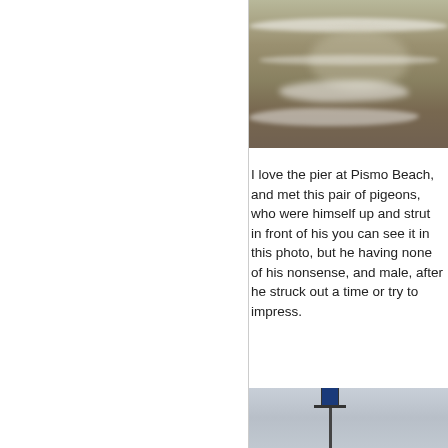[Figure (photo): Aerial or elevated view of a beach with ocean waves washing onto the sand, partially cropped, showing sandy beach with white foam waves.]
I love the pier at Pismo Beach, and met this pair of pigeons, who were himself up and strut in front of his you can see it in this photo, but he having none of his nonsense, and male, after he struck out a time or try to impress.
[Figure (photo): Photo of a street lamp or pier light pole against a pale blue-grey sky, with a banner or sign attached to the crossbar.]